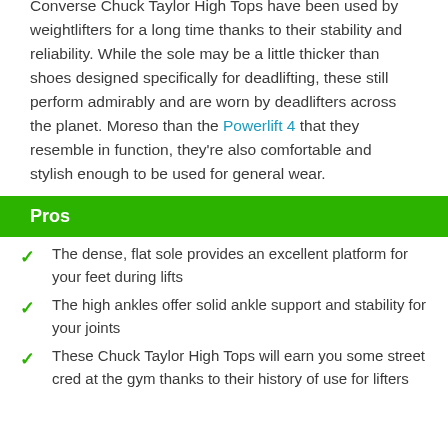Converse Chuck Taylor High Tops have been used by weightlifters for a long time thanks to their stability and reliability. While the sole may be a little thicker than shoes designed specifically for deadlifting, these still perform admirably and are worn by deadlifters across the planet. Moreso than the Powerlift 4 that they resemble in function, they're also comfortable and stylish enough to be used for general wear.
Pros
The dense, flat sole provides an excellent platform for your feet during lifts
The high ankles offer solid ankle support and stability for your joints
These Chuck Taylor High Tops will earn you some street cred at the gym thanks to their history of use for lifters